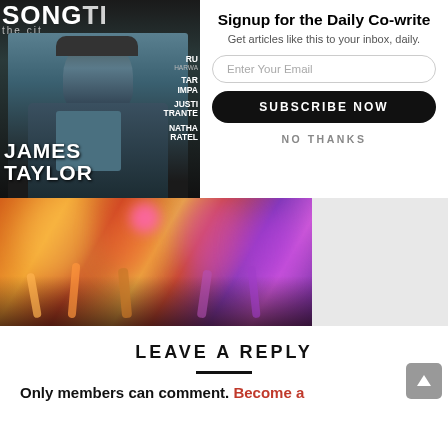[Figure (photo): Magazine cover showing James Taylor on Songwriter magazine with text overlays including his name and other artist names like RU, TA IMPA, JUSTI TRANTER, NATHA RATEL]
Signup for the Daily Co-write
Get articles like this to your inbox, daily.
Enter Your Email
SUBSCRIBE NOW
NO THANKS
[Figure (photo): Concert photo with colorful blurred background showing instruments and performers with purple and orange lighting]
LEAVE A REPLY
Only members can comment. Become a